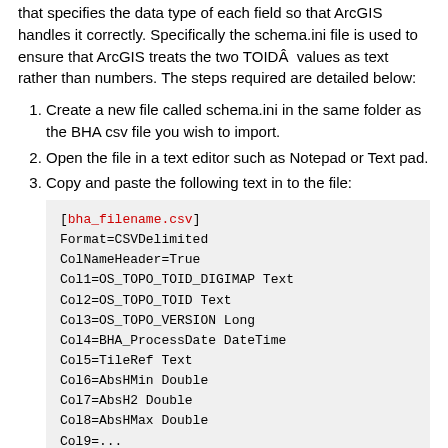that specifies the data type of each field so that ArcGIS handles it correctly. Specifically the schema.ini file is used to ensure that ArcGIS treats the two TOIDÂ  values as text rather than numbers. The steps required are detailed below:
Create a new file called schema.ini in the same folder as the BHA csv file you wish to import.
Open the file in a text editor such as Notepad or Text pad.
Copy and paste the following text in to the file:
[bha_filename.csv]
Format=CSVDelimited
ColNameHeader=True
Col1=OS_TOPO_TOID_DIGIMAP Text
Col2=OS_TOPO_TOID Text
Col3=OS_TOPO_VERSION Long
Col4=BHA_ProcessDate DateTime
Col5=TileRef Text
Col6=AbsHMin Double
Col7=AbsH2 Double
Col8=AbsHMax Double
Col9=...